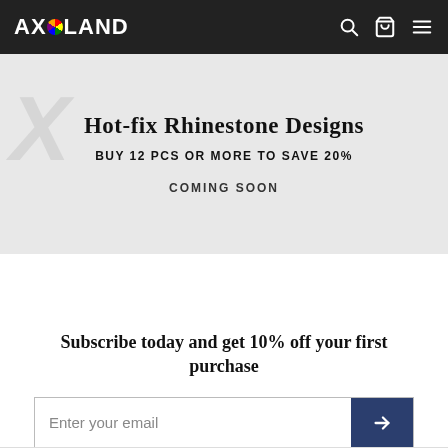AXILAND
Hot-fix Rhinestone Designs
BUY 12 PCS OR MORE TO SAVE 20%
COMING SOON
Subscribe today and get 10% off your first purchase